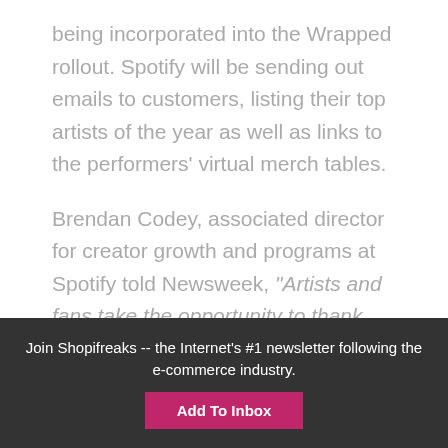being incorporated into the Wrapped rollout. Spotify will be sending out emails to customers, listing their top artists of the year as well as links to the performers' virtual merch tables.
Brendan Codey, associated director for creator growth and programs at Spotify told Newsweek, “Artists and fans take the opportunity to thank each other for the
Join Shopifreaks -- the Internet's #1 newsletter following the e-commerce industry.
Add To Inbox